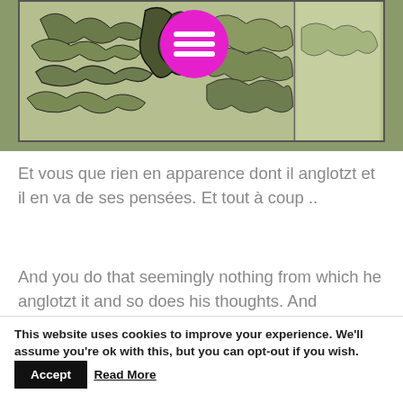[Figure (illustration): Comic book style illustration with olive-green and dark ink swirling patterns, featuring abstract organic shapes. A pink/magenta circle with three horizontal white lines (hamburger menu icon) overlays the center of the image. The panel has a border with a two-panel layout.]
Et vous que rien en apparence dont il anglotzt et il en va de ses pensées. Et tout à coup ..
And you do that seemingly nothing from which he anglotzt it and so does his thoughts. And suddenly
..
This website uses cookies to improve your experience. We'll assume you're ok with this, but you can opt-out if you wish. Accept Read More